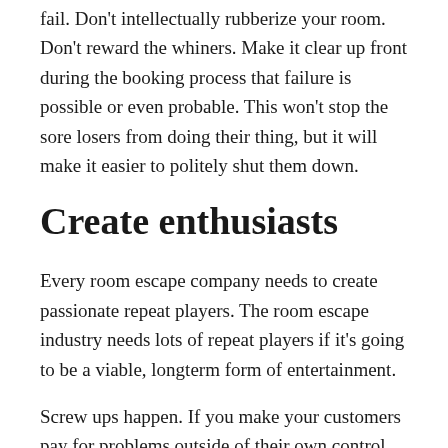fail. Don't intellectually rubberize your room. Don't reward the whiners. Make it clear up front during the booking process that failure is possible or even probable. This won't stop the sore losers from doing their thing, but it will make it easier to politely shut them down.
Create enthusiasts
Every room escape company needs to create passionate repeat players. The room escape industry needs lots of repeat players if it's going to be a viable, longterm form of entertainment.
Screw ups happen. If you make your customers pay for problems outside of their own control, they will be less likely to ever return to any escape room, let alone yours.
Refunds and other forms of compensation are a matter of customer service. You want your customers to have a good